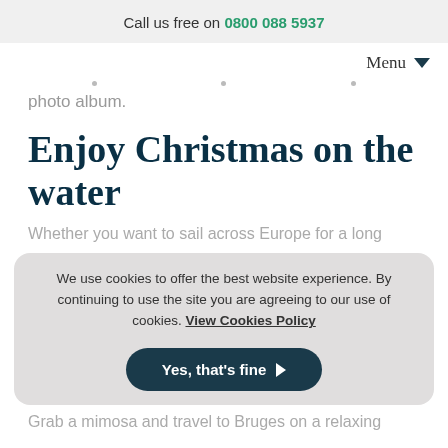Call us free on 0800 088 5937
Menu
photo album.
Enjoy Christmas on the water
Whether you want to sail across Europe for a long
We use cookies to offer the best website experience. By continuing to use the site you are agreeing to our use of cookies. View Cookies Policy
Yes, that's fine
Grab a mimosa and travel to Bruges on a relaxing